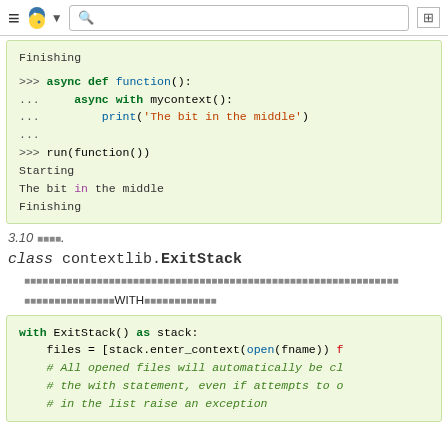Python documentation - navigation bar with search
Finishing

>>> async def function():
...     async with mycontext():
...         print('The bit in the middle')
...
>>> run(function())
Starting
The bit in the middle
Finishing
3.10 버전에서 추가.
class contextlib.ExitStack
각 컨텍스트 관리자와 정리 로직의 프로그래밍 방식의 조합을 지원하는 컨텍스트 관리자입니다.
일반적인 with 문의 중첩 사용을 WITH절 밖에서도 가능하게 합니다.
with ExitStack() as stack:
    files = [stack.enter_context(open(fname)) f
    # All opened files will automatically be cl
    # the with statement, even if attempts to o
    # in the list raise an exception